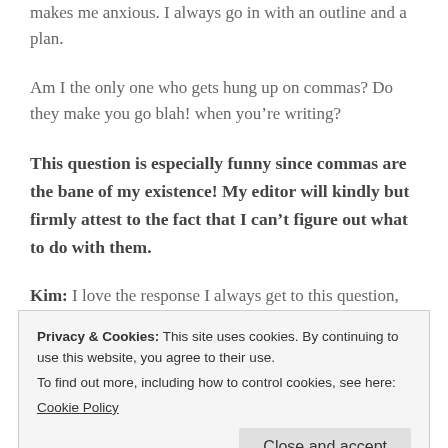makes me anxious. I always go in with an outline and a plan.
Am I the only one who gets hung up on commas? Do they make you go blah! when you’re writing?
This question is especially funny since commas are the bane of my existence! My editor will kindly but firmly attest to the fact that I can’t figure out what to do with them.
Kim: I love the response I always get to this question,
Privacy & Cookies: This site uses cookies. By continuing to use this website, you agree to their use.
To find out more, including how to control cookies, see here: Cookie Policy
Close and accept
They’re available online through Amazon, Barnes and